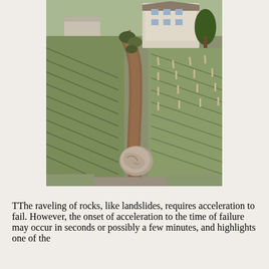[Figure (photo): Aerial photograph showing a large boulder that has rolled down a vineyard hillside, leaving a clear trail of destruction through the rows of vines. A multi-story house and walled property are visible at the top of the hill.]
TThe raveling of rocks, like landslides, requires acceleration to fail. However, the onset of acceleration to the time of failure may occur in seconds or possibly a few minutes, and highlights one of the